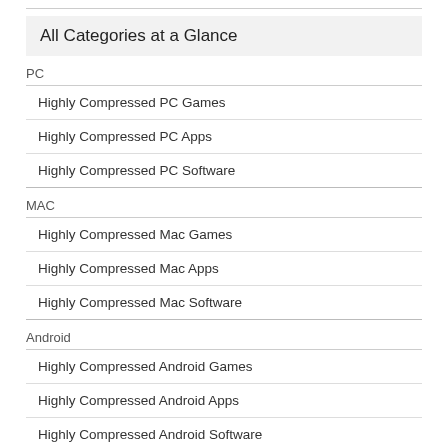All Categories at a Glance
PC
Highly Compressed PC Games
Highly Compressed PC Apps
Highly Compressed PC Software
MAC
Highly Compressed Mac Games
Highly Compressed Mac Apps
Highly Compressed Mac Software
Android
Highly Compressed Android Games
Highly Compressed Android Apps
Highly Compressed Android Software